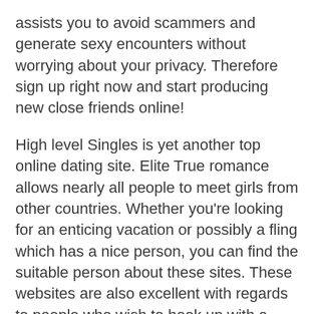assists you to avoid scammers and generate sexy encounters without worrying about your privacy. Therefore sign up right now and start producing new close friends online!
High level Singles is yet another top online dating site. Elite True romance allows nearly all people to meet girls from other countries. Whether you're looking for an enticing vacation or possibly a fling which has a nice person, you can find the suitable person about these sites. These websites are also excellent with regards to people who wish to hook up with a man who all lives close to them. For anybody who is not buying relationship on the web, there are several other sites which might be better suited for this